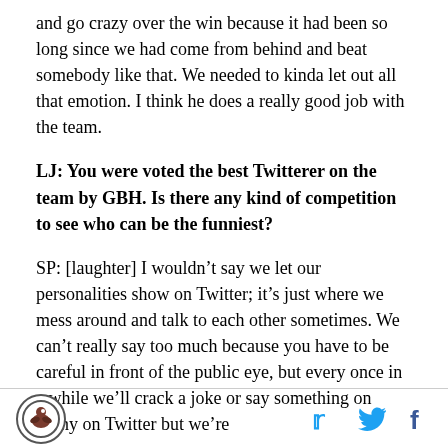and go crazy over the win because it had been so long since we had come from behind and beat somebody like that. We needed to kinda let out all that emotion. I think he does a really good job with the team.
LJ: You were voted the best Twitterer on the team by GBH. Is there any kind of competition to see who can be the funniest?
SP: [laughter] I wouldn't say we let our personalities show on Twitter; it's just where we mess around and talk to each other sometimes. We can't really say too much because you have to be careful in front of the public eye, but every once in a while we'll crack a joke or say something on funny on Twitter but we're
[Figure (logo): Circular logo with bird/figure icon, dark border]